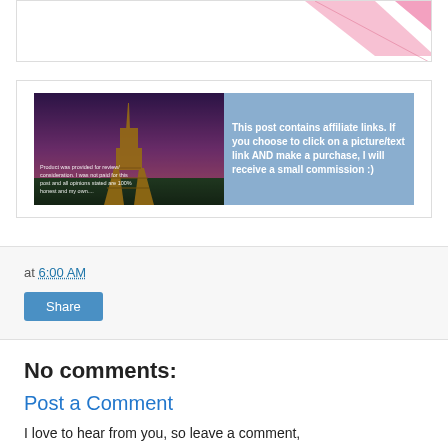[Figure (illustration): Partial pink/arrow decorative image visible at top of framed box]
[Figure (infographic): Two-panel affiliate disclosure image: left panel shows Eiffel Tower at sunset with text 'Product was provided for review/consideration. I was not paid for this post and all opinions stated are 100% honest and my own...'; right panel is blue with text 'This post contains affiliate links. If you choose to click on a picture/text link AND make a purchase, I will receive a small commission :)']
at 6:00 AM
Share
No comments:
Post a Comment
I love to hear from you, so leave a comment,